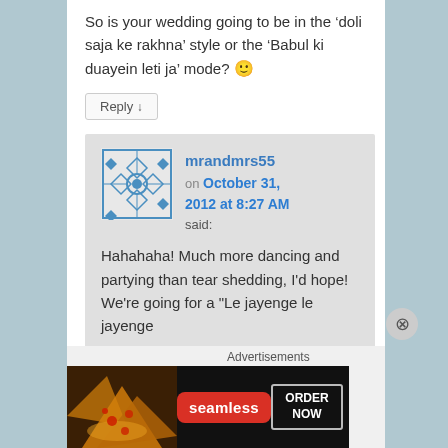So is your wedding going to be in the ‘doli saja ke rakhna’ style or the ‘Babul ki duayein leti ja’ mode? 🙂
Reply ↓
mrandmrs55 on October 31, 2012 at 8:27 AM said:
Hahahaha! Much more dancing and partying than tear shedding, I’d hope! We’re going for a “Le jayenge le jayenge
Advertisements
[Figure (other): Seamless food delivery advertisement banner with pizza image, Seamless logo in red pill, and ORDER NOW button]